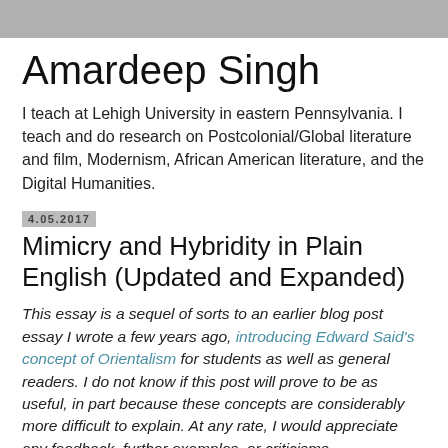Amardeep Singh
I teach at Lehigh University in eastern Pennsylvania. I teach and do research on Postcolonial/Global literature and film, Modernism, African American literature, and the Digital Humanities.
4.05.2017
Mimicry and Hybridity in Plain English (Updated and Expanded)
This essay is a sequel of sorts to an earlier blog post essay I wrote a few years ago, introducing Edward Said's concept of Orientalism for students as well as general readers. I do not know if this post will prove to be as useful, in part because these concepts are considerably more difficult to explain. At any rate, I would appreciate any feedback, further examples, or criticisms.